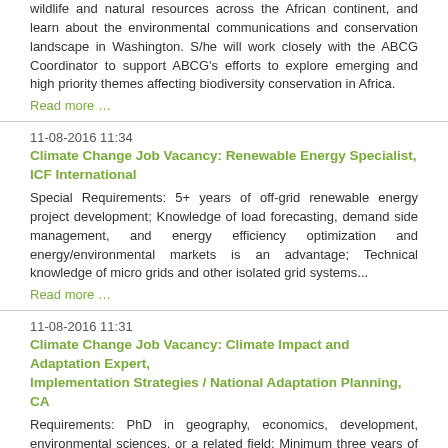wildlife and natural resources across the African continent, and learn about the environmental communications and conservation landscape in Washington. S/he will work closely with the ABCG Coordinator to support ABCG's efforts to explore emerging and high priority themes affecting biodiversity conservation in Africa.
Read more …
11-08-2016 11:34
Climate Change Job Vacancy: Renewable Energy Specialist, ICF International
Special Requirements: 5+ years of off-grid renewable energy project development; Knowledge of load forecasting, demand side management, and energy efficiency optimization and energy/environmental markets is an advantage; Technical knowledge of micro grids and other isolated grid systems...
Read more …
11-08-2016 11:31
Climate Change Job Vacancy: Climate Impact and Adaptation Expert, Implementation Strategies / National Adaptation Planning, CA
Requirements: PhD in geography, economics, development, environmental sciences, or a related field; Minimum three years of experience, preferably more, in cross-sectoral climate adaptation, vulnerability and development research
Read more …
08-08-2016 08:08
WWF Vacancy: Chief of Party, CAFEC Job at World Wildlife Fund in Kinshasa – 17011
WWF seeks a Chief of Party (CoP) to plan, coordinate and oversee program activities related to the contract between WWF and USAID's CAFEC of the